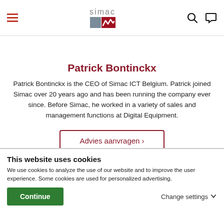simac [logo with hamburger menu, search, and chat icons]
[Figure (photo): Circular profile photo of Patrick Bontinckx]
Patrick Bontinckx
Patrick Bontinckx is the CEO of Simac ICT Belgium. Patrick joined Simac over 20 years ago and has been running the company ever since. Before Simac, he worked in a variety of sales and management functions at Digital Equipment.
Advies aanvragen >
This website uses cookies
We use cookies to analyze the use of our website and to improve the user experience. Some cookies are used for personalized advertising.
Continue
Change settings